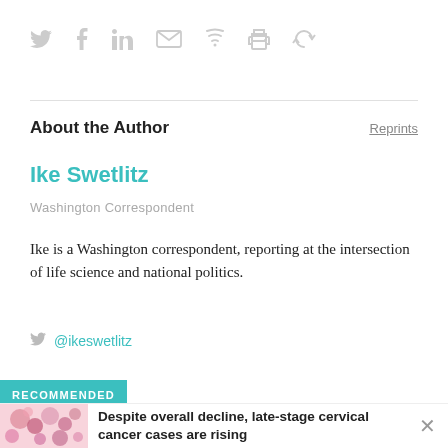[Figure (other): Social sharing icons: Twitter bird, Facebook f, LinkedIn in, email envelope, bookmark, print, refresh/share]
About the Author
Reprints
Ike Swetlitz
Washington Correspondent
Ike is a Washington correspondent, reporting at the intersection of life science and national politics.
@ikeswetlitz
RECOMMENDED
Despite overall decline, late-stage cervical cancer cases are rising